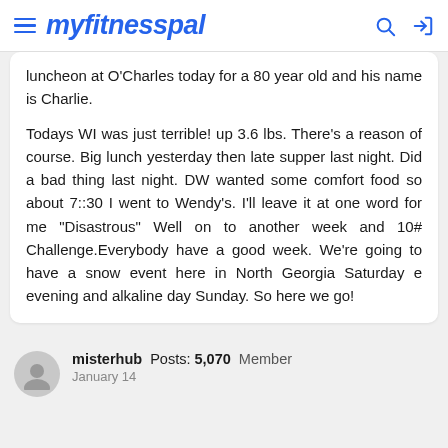myfitnesspal
luncheon at O'Charles today for a 80 year old and his name is Charlie.

Todays WI was just terrible! up 3.6 lbs. There's a reason of course. Big lunch yesterday then late supper last night. Did a bad thing last night. DW wanted some comfort food so about 7::30 I went to Wendy's. I'll leave it at one word for me "Disastrous" Well on to another week and 10# Challenge.Everybody have a good week. We're going to have a snow event here in North Georgia Saturday e evening and alkaline day Sunday. So here we go!
misterhub  Posts: 5,070  Member
January 14